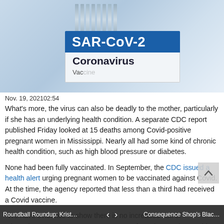[Figure (photo): Close-up photograph of a vaccine vial with a blue label reading 'SAR-CoV-2 Coronavirus' on a light blue/white blurred background]
Nov. 19, 202102:54
What's more, the virus can also be deadly to the mother, particularly if she has an underlying health condition. A separate CDC report published Friday looked at 15 deaths among Covid-positive pregnant women in Mississippi. Nearly all had some kind of chronic health condition, such as high blood pressure or diabetes.
None had been fully vaccinated. In September, the CDC issued a health alert urging pregnant women to be vaccinated against Covid. At the time, the agency reported that less than a third had received a Covid vaccine.
“We have evidence to show there is no increased risk of miscarriage or poor pregnancy outcomes from the vaccine,” said Dr. Zsakeba Henderson, deputy chief medical and health officer for the March of
Roundball Roundup: Kristen Led...    ‹  ›    Consequence Shop’s Black Frida...